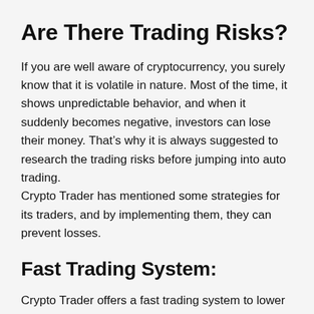Are There Trading Risks?
If you are well aware of cryptocurrency, you surely know that it is volatile in nature. Most of the time, it shows unpredictable behavior, and when it suddenly becomes negative, investors can lose their money. That’s why it is always suggested to research the trading risks before jumping into auto trading.
Crypto Trader has mentioned some strategies for its traders, and by implementing them, they can prevent losses.
Fast Trading System:
Crypto Trader offers a fast trading system to lower the risk. The company has its own Crypto Trader trading bot that